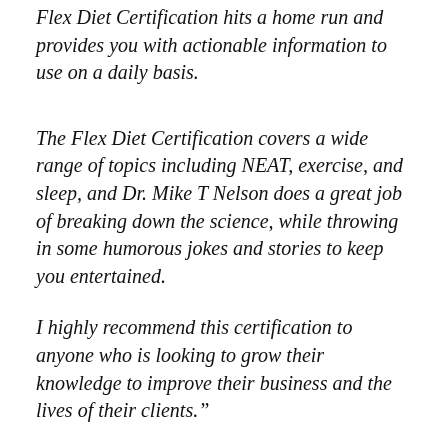Flex Diet Certification hits a home run and provides you with actionable information to use on a daily basis.
The Flex Diet Certification covers a wide range of topics including NEAT, exercise, and sleep, and Dr. Mike T Nelson does a great job of breaking down the science, while throwing in some humorous jokes and stories to keep you entertained.
I highly recommend this certification to anyone who is looking to grow their knowledge to improve their business and the lives of their clients.”
- Ryan Nosak, Certified Strength & Conditioning